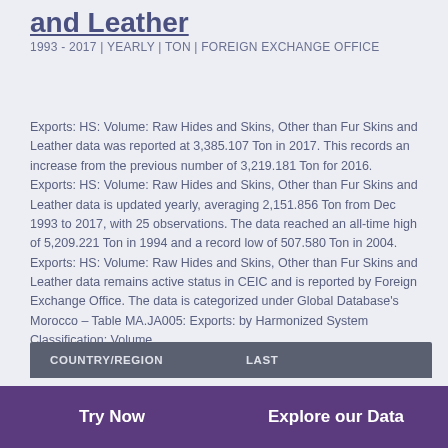and Leather
1993 - 2017 | YEARLY | TON | FOREIGN EXCHANGE OFFICE
Exports: HS: Volume: Raw Hides and Skins, Other than Fur Skins and Leather data was reported at 3,385.107 Ton in 2017. This records an increase from the previous number of 3,219.181 Ton for 2016. Exports: HS: Volume: Raw Hides and Skins, Other than Fur Skins and Leather data is updated yearly, averaging 2,151.856 Ton from Dec 1993 to 2017, with 25 observations. The data reached an all-time high of 5,209.221 Ton in 1994 and a record low of 507.580 Ton in 2004. Exports: HS: Volume: Raw Hides and Skins, Other than Fur Skins and Leather data remains active status in CEIC and is reported by Foreign Exchange Office. The data is categorized under Global Database's Morocco – Table MA.JA005: Exports: by Harmonized System Classification: Volume.
| COUNTRY/REGION | LAST |
| --- | --- |
Try Now | Explore our Data